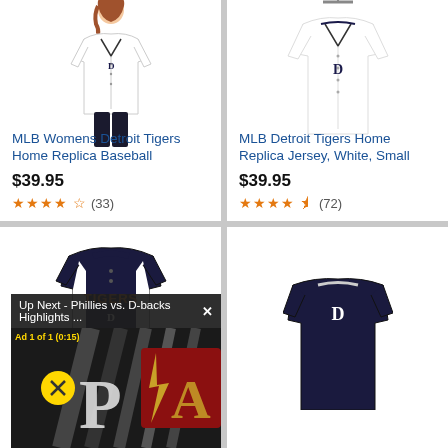[Figure (photo): Woman wearing white Detroit Tigers home replica baseball jersey]
MLB Womens Detroit Tigers Home Replica Baseball
$39.95
★★★★ (33)
[Figure (photo): White Detroit Tigers home replica jersey on hanger]
MLB Detroit Tigers Home Replica Jersey, White, Small
$39.95
★★★★½ (72)
[Figure (photo): Navy blue Detroit Tigers youth baseball jersey with TIGERS text]
Outerstuff MLB Youth Boy Blank Baseball Jersey,
$24.99 ✓prime
★★★★★ (8)
[Figure (photo): Video overlay showing Phillies vs D-backs highlights ad with P and A logos on dark background]